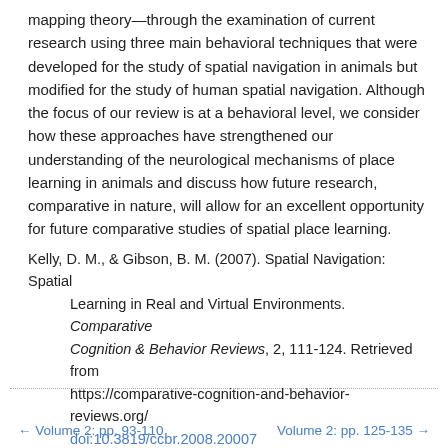mapping theory—through the examination of current research using three main behavioral techniques that were developed for the study of spatial navigation in animals but modified for the study of human spatial navigation. Although the focus of our review is at a behavioral level, we consider how these approaches have strengthened our understanding of the neurological mechanisms of place learning in animals and discuss how future research, comparative in nature, will allow for an excellent opportunity for future comparative studies of spatial place learning.
Kelly, D. M., & Gibson, B. M. (2007). Spatial Navigation: Spatial Learning in Real and Virtual Environments. Comparative Cognition & Behavior Reviews, 2, 111-124. Retrieved from https://comparative-cognition-and-behavior-reviews.org/ doi:10.3819/ccbr.2008.20007
← Volume 2: pp. 93-110    Volume 2: pp. 125-135 →